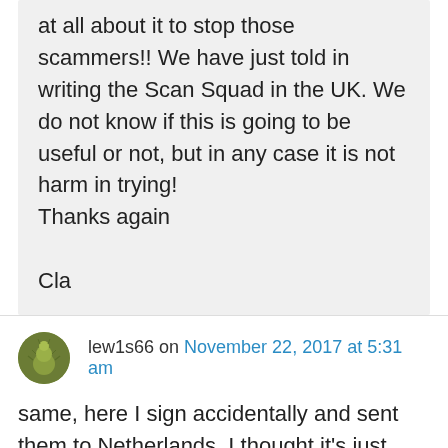at all about it to stop those scammers!! We have just told in writing the Scan Squad in the UK. We do not know if this is going to be useful or not, but in any case it is not harm in trying!
Thanks again

Cla
lew1s66 on November 22, 2017 at 5:31 am
same, here I sign accidentally and sent them to Netherlands. I thought it's just some EU business directory. No fee on sign form. Now they are asking for 995. I wrote them 3 emails